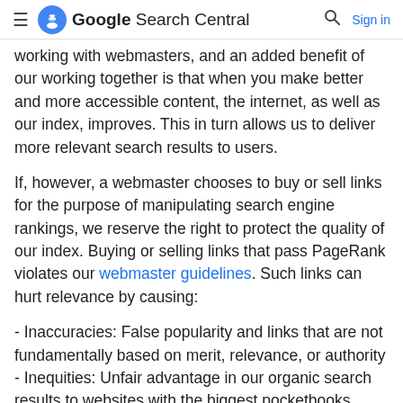Google Search Central  Sign in
working with webmasters, and an added benefit of our working together is that when you make better and more accessible content, the internet, as well as our index, improves. This in turn allows us to deliver more relevant search results to users.
If, however, a webmaster chooses to buy or sell links for the purpose of manipulating search engine rankings, we reserve the right to protect the quality of our index. Buying or selling links that pass PageRank violates our webmaster guidelines. Such links can hurt relevance by causing:
- Inaccuracies: False popularity and links that are not fundamentally based on merit, relevance, or authority - Inequities: Unfair advantage in our organic search results to websites with the biggest pocketbooks
In order to stay within Google's quality guidelines, paid